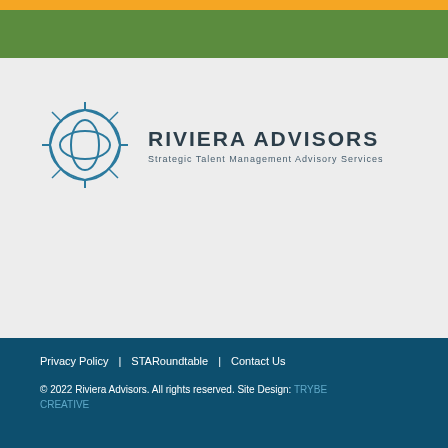[Figure (logo): Riviera Advisors logo with a compass/sphere icon and text 'RIVIERA ADVISORS - Strategic Talent Management Advisory Services']
Privacy Policy  |  STARoundtable  |  Contact Us
© 2022 Riviera Advisors. All rights reserved. Site Design: TRYBE CREATIVE